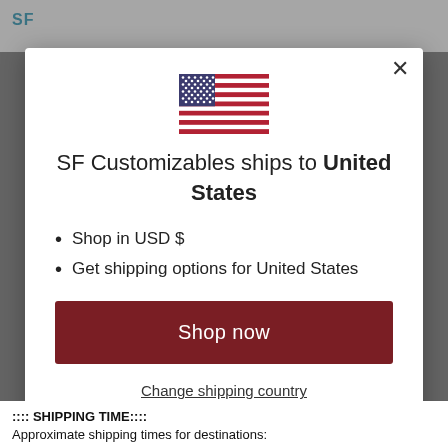SF Customizables (logo)
[Figure (illustration): US flag emoji illustration]
SF Customizables ships to United States
Shop in USD $
Get shipping options for United States
Shop now
Change shipping country
:::: SHIPPING TIME::::
Approximate shipping times for destinations: